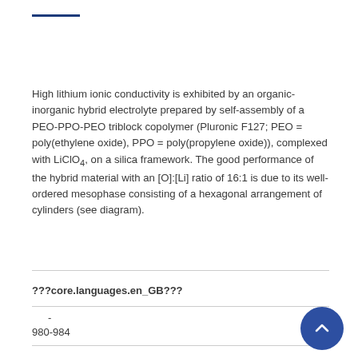High lithium ionic conductivity is exhibited by an organic-inorganic hybrid electrolyte prepared by self-assembly of a PEO-PPO-PEO triblock copolymer (Pluronic F127; PEO = poly(ethylene oxide), PPO = poly(propylene oxide)), complexed with LiClO4, on a silica framework. The good performance of the hybrid material with an [O]:[Li] ratio of 16:1 is due to its well-ordered mesophase consisting of a hexagonal arrangement of cylinders (see diagram).
???core.languages.en_GB???
-
980-984